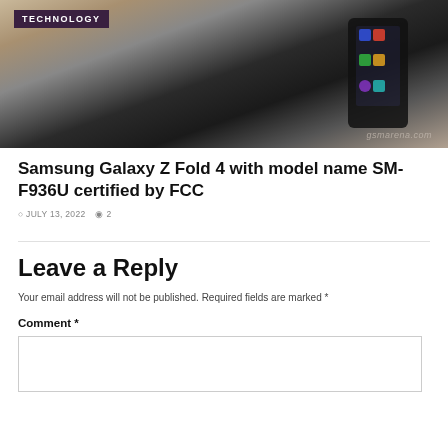[Figure (photo): Hand holding a Samsung Galaxy smartphone showing app icons on screen, with gsmarena.com watermark and TECHNOLOGY badge overlay]
Samsung Galaxy Z Fold 4 with model name SM-F936U certified by FCC
JULY 13, 2022  2
Leave a Reply
Your email address will not be published. Required fields are marked *
Comment *